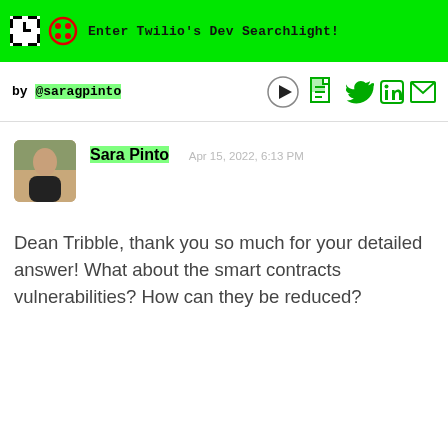Enter Twilio's Dev Searchlight!
by @saragpinto
Sara Pinto  Apr 15, 2022, 6:13 PM
Dean Tribble, thank you so much for your detailed answer! What about the smart contracts vulnerabilities? How can they be reduced?